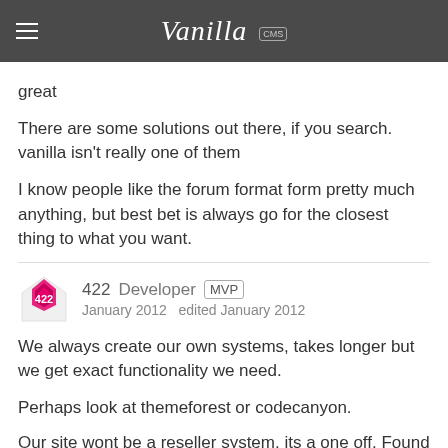Vanilla CMS
great
There are some solutions out there, if you search. vanilla isn't really one of them
I know people like the forum format form pretty much anything, but best bet is always go for the closest thing to what you want.
422   Developer   MVP
January 2012   edited January 2012
We always create our own systems, takes longer but we get exact functionality we need.
Perhaps look at themeforest or codecanyon.
Our site wont be a reseller system, its a one off. Found